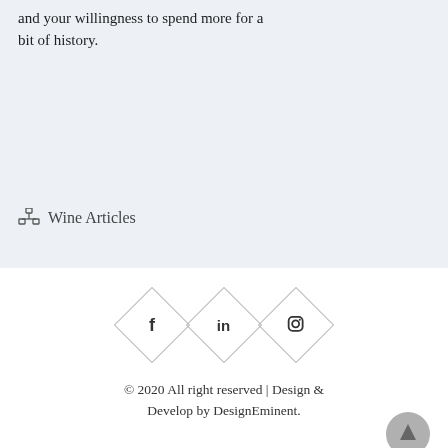and your willingness to spend more for a bit of history.
Wine Articles
[Figure (illustration): Category/sitemap icon next to 'Wine Articles' label]
[Figure (infographic): Three diamond-shaped social media icon buttons: Facebook (f), LinkedIn (in), Instagram (camera icon)]
© 2020 All right reserved | Design & Develop by DesignEminent.